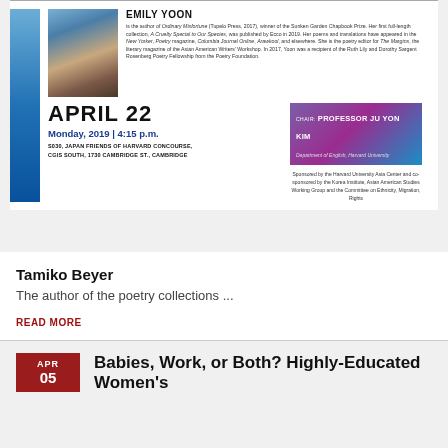[Figure (infographic): Harvard event flyer for Emily Yoon poetry reading on April 22, 2019]
Tamiko Beyer
The author of the poetry collections ...
READ MORE
Babies, Work, or Both? Highly-Educated Women's